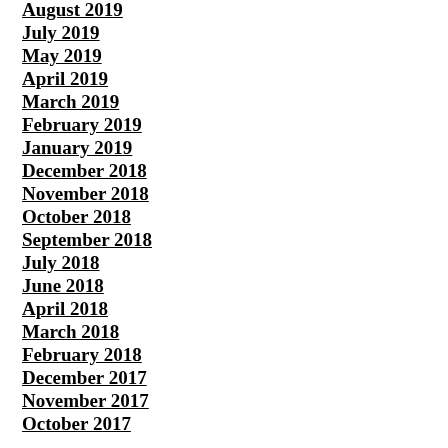August 2019
July 2019
May 2019
April 2019
March 2019
February 2019
January 2019
December 2018
November 2018
October 2018
September 2018
July 2018
June 2018
April 2018
March 2018
February 2018
December 2017
November 2017
October 2017